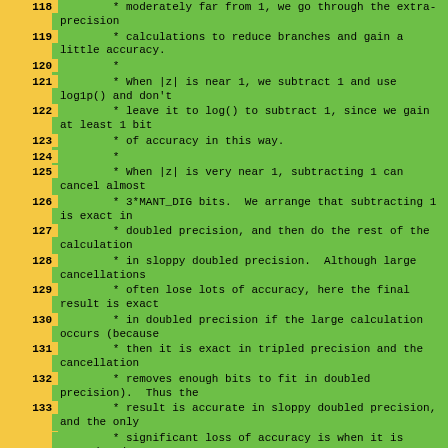118  * moderately far from 1, we go through the extra-precision
119  * calculations to reduce branches and gain a little accuracy.
120  *
121  * When |z| is near 1, we subtract 1 and use log1p() and don't
122  * leave it to log() to subtract 1, since we gain at least 1 bit
123  * of accuracy in this way.
124  *
125  * When |z| is very near 1, subtracting 1 can cancel almost
126  * 3*MANT_DIG bits.  We arrange that subtracting 1 is exact in
127  * doubled precision, and then do the rest of the calculation
128  * in sloppy doubled precision.  Although large cancellations
129  * often lose lots of accuracy, here the final result is exact
130  * in doubled precision if the large calculation occurs (because
131  * then it is exact in tripled precision and the cancellation
132  * removes enough bits to fit in doubled precision).  Thus the
133  * result is accurate in sloppy doubled precision, and the only
* significant loss of accuracy is when it is summed and